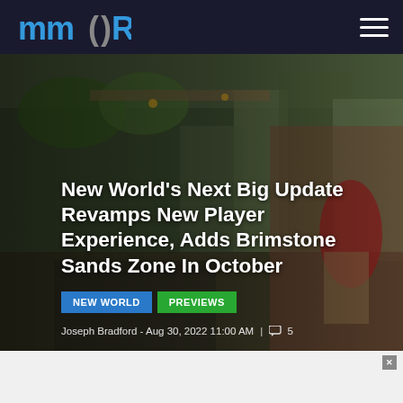MMORPG
[Figure (photo): Screenshot from New World game showing a character in fantasy armor/costume in a village marketplace setting with buildings and other characters in background]
New World's Next Big Update Revamps New Player Experience, Adds Brimstone Sands Zone In October
NEW WORLD
PREVIEWS
Joseph Bradford - Aug 30, 2022 11:00 AM | 5